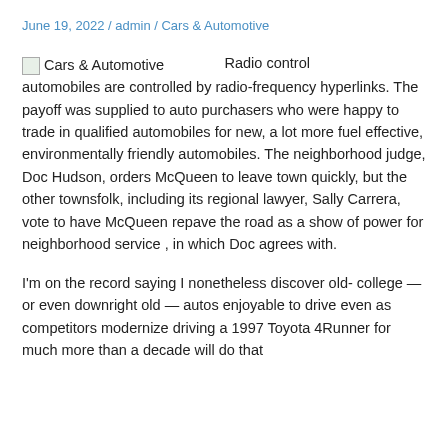June 19, 2022 / admin / Cars & Automotive
[Figure (illustration): Broken image placeholder icon labeled 'Cars & Automotive']
Radio control automobiles are controlled by radio-frequency hyperlinks. The payoff was supplied to auto purchasers who were happy to trade in qualified automobiles for new, a lot more fuel effective, environmentally friendly automobiles. The neighborhood judge, Doc Hudson, orders McQueen to leave town quickly, but the other townsfolk, including its regional lawyer, Sally Carrera, vote to have McQueen repave the road as a show of power for neighborhood service , in which Doc agrees with.
I'm on the record saying I nonetheless discover old-college — or even downright old — autos enjoyable to drive even as competitors modernize driving a 1997 Toyota 4Runner for much more than a decade will do that